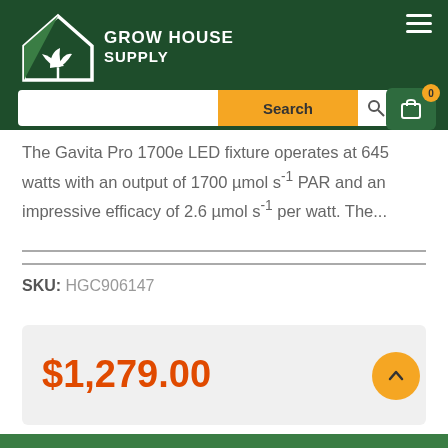[Figure (logo): Grow House Supply logo with green house icon and white text]
The Gavita Pro 1700e LED fixture operates at 645 watts with an output of 1700 µmol s-1 PAR and an impressive efficacy of 2.6 µmol s-1 per watt. The...
SKU: HGC906147
$1,279.00
Add to cart